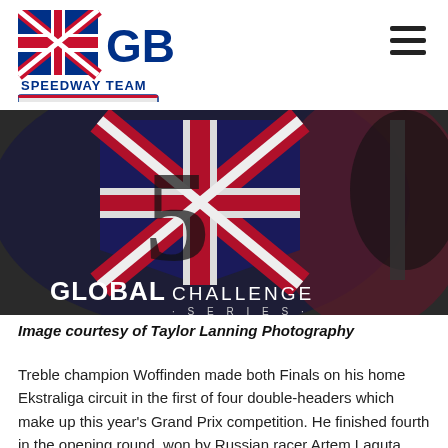[Figure (logo): GB Speedway Team logo with Allied Mobility sponsor badge and 'Driving for Perfection' tagline]
[Figure (photo): Close-up photograph of a speedway helmet or race jacket featuring a Union Jack design and 'Global Challenge Series' branding]
Image courtesy of Taylor Lanning Photography
Treble champion Woffinden made both Finals on his home Ekstraliga circuit in the first of four double-headers which make up this year's Grand Prix competition. He finished fourth in the opening round, won by Russian racer Artem Laguta, whilst the second event produced a Wroclaw one-two as